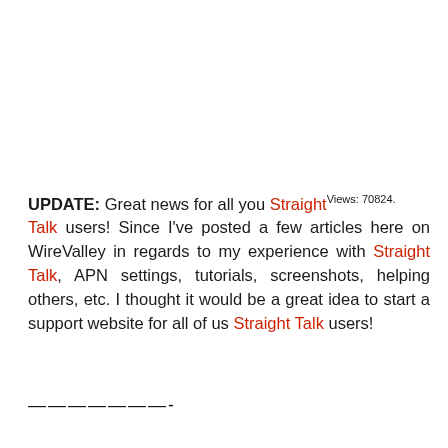UPDATE: Great news for all you Straight[Views: 70824.]Talk users! Since I've posted a few articles here on WireValley in regards to my experience with Straight Talk, APN settings, tutorials, screenshots, helping others, etc. I thought it would be a great idea to start a support website for all of us Straight Talk users!
———————-